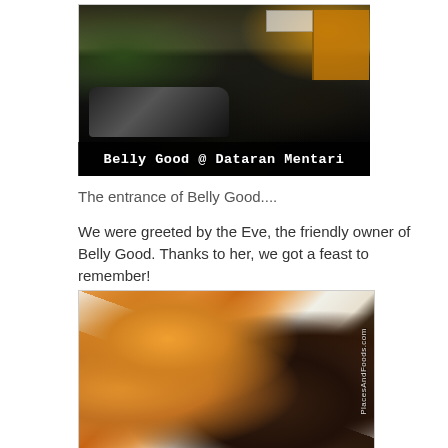[Figure (photo): Exterior/entrance of Belly Good restaurant at Dataran Mentari, showing the shopfront at night with a car parked outside and illuminated signage]
Belly Good @ Dataran Mentari
The entrance of Belly Good....
We were greeted by the Eve, the friendly owner of Belly Good. Thanks to her, we got a feast to remember!
[Figure (photo): Close-up food photo showing grilled eggplant/brinjal with sambal topping and julienned carrots on a white plate, watermarked PlacesAndFoods.com]